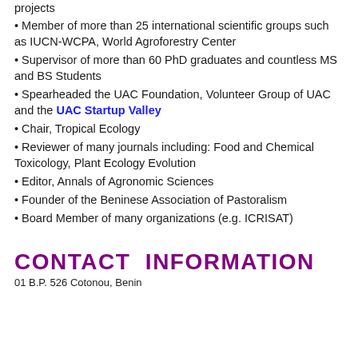projects
Member of more than 25 international scientific groups such as IUCN-WCPA, World Agroforestry Center
Supervisor of more than 60 PhD graduates and countless MS and BS Students
Spearheaded the UAC Foundation, Volunteer Group of UAC and the UAC Startup Valley
Chair, Tropical Ecology
Reviewer of many journals including: Food and Chemical Toxicology, Plant Ecology Evolution
Editor, Annals of Agronomic Sciences
Founder of the Beninese Association of Pastoralism
Board Member of many organizations (e.g. ICRISAT)
CONTACT  INFORMATION
01 B.P. 526 Cotonou, Benin